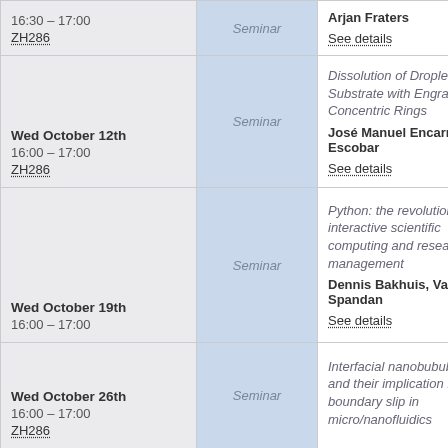| Date/Time/Room | Type | Details |
| --- | --- | --- |
| 16:30 – 17:00
ZH286 | Seminar | Arjan Fraters
See details |
| Wed October 12th
16:00 – 17:00
ZH286 | Seminar | Dissolution of Droplets on a Substrate with Engraved Concentric Rings
José Manuel Encarnación Escobar
See details |
| Wed October 19th
16:00 – 17:00 | Seminar | Python: the revolution in interactive scientific computing and research management
Dennis Bakhuis, Vamsi Spandan
See details |
| Wed October 26th
16:00 – 17:00
ZH286 | Seminar | Interfacial nanobububbles and their implication for boundary slip in micro/nanofluidics |